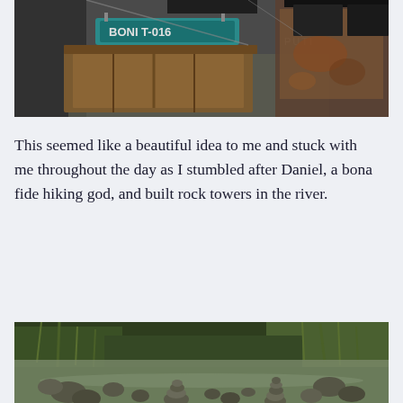[Figure (photo): Outdoor industrial scene showing wooden crates and old rusty metal surfaces, with a teal sign partially reading 'BONI T-016' and text 'PUTI' visible in the background.]
This seemed like a beautiful idea to me and stuck with me throughout the day as I stumbled after Daniel, a bona fide hiking god, and built rock towers in the river.
[Figure (photo): A river scene with rocks and stones, tall green grass and vegetation in the background. In the foreground, stacked rock cairns are visible in the shallow water.]